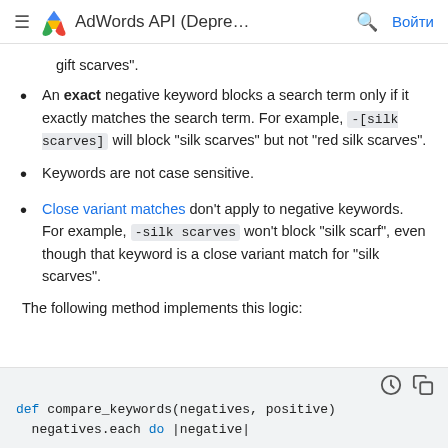AdWords API (Depre… | Войти
gift scarves".
An exact negative keyword blocks a search term only if it exactly matches the search term. For example, -[silk scarves] will block "silk scarves" but not "red silk scarves".
Keywords are not case sensitive.
Close variant matches don't apply to negative keywords. For example, -silk scarves won't block "silk scarf", even though that keyword is a close variant match for "silk scarves".
The following method implements this logic:
[Figure (screenshot): Code block showing: def compare_keywords(negatives, positive)
  negatives.each do |negative|]